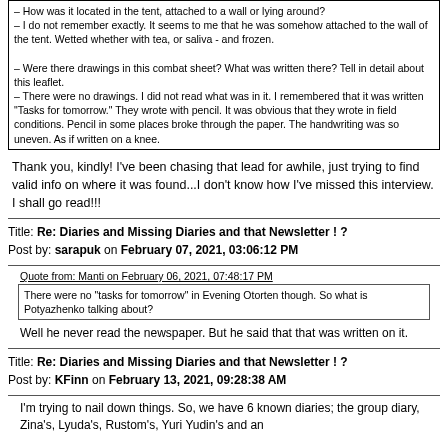– How was it located in the tent, attached to a wall or lying around?
– I do not remember exactly. It seems to me that he was somehow attached to the wall of the tent. Wetted whether with tea, or saliva - and frozen.

– Were there drawings in this combat sheet? What was written there? Tell in detail about this leaflet.
– There were no drawings. I did not read what was in it. I remembered that it was written "Tasks for tomorrow." They wrote with pencil. It was obvious that they wrote in field conditions. Pencil in some places broke through the paper. The handwriting was so uneven. As if written on a knee.
Thank you, kindly!  I've been chasing that lead for awhile, just trying to find valid info on where it was found...I don't know how I've missed this interview. I shall go read!!!
Title: Re: Diaries and Missing Diaries and that Newsletter ! ?
Post by: sarapuk on February 07, 2021, 03:06:12 PM
Quote from: Manti on February 06, 2021, 07:48:17 PM
There were no "tasks for tomorrow" in Evening Otorten though. So what is Potyazhenko talking about?
Well he never read the newspaper. But he said that that was written on it.
Title: Re: Diaries and Missing Diaries and that Newsletter ! ?
Post by: KFinn on February 13, 2021, 09:28:38 AM
I'm trying to nail down things.  So, we have 6 known diaries; the group diary, Zina's, Lyuda's, Rustom's, Yuri Yudin's and an